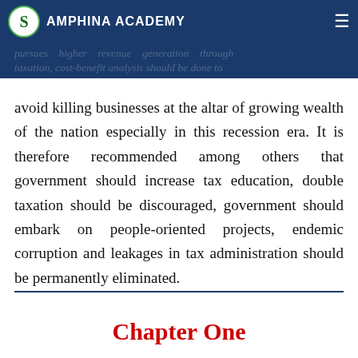AMPHINA ACADEMY
pursues higher revenue generation through taxation, cost-benefit analysis should be done to avoid killing businesses at the altar of growing wealth of the nation especially in this recession era. It is therefore recommended among others that government should increase tax education, double taxation should be discouraged, government should embark on people-oriented projects, endemic corruption and leakages in tax administration should be permanently eliminated.
Chapter One